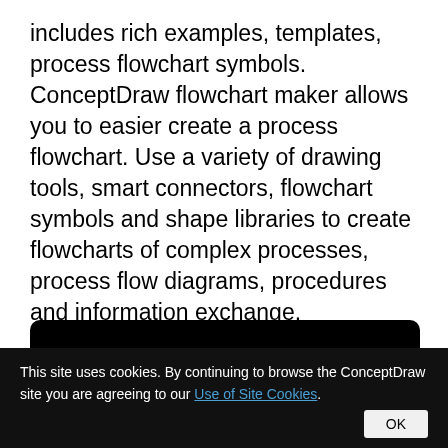includes rich examples, templates, process flowchart symbols. ConceptDraw flowchart maker allows you to easier create a process flowchart. Use a variety of drawing tools, smart connectors, flowchart symbols and shape libraries to create flowcharts of complex processes, process flow diagrams, procedures and information exchange.
[Figure (screenshot): Black video player area with a dark toolbar at the bottom, partially visible content]
This site uses cookies. By continuing to browse the ConceptDraw site you are agreeing to our Use of Site Cookies. OK